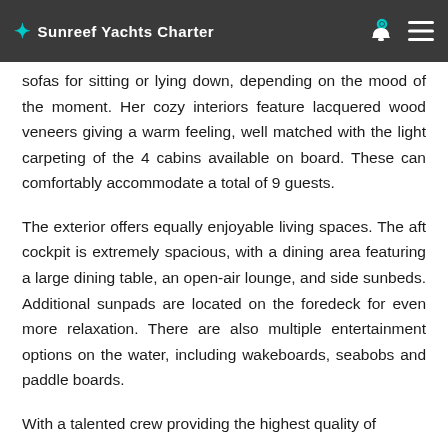Sunreef Yachts Charter
sofas for sitting or lying down, depending on the mood of the moment. Her cozy interiors feature lacquered wood veneers giving a warm feeling, well matched with the light carpeting of the 4 cabins available on board. These can comfortably accommodate a total of 9 guests.
The exterior offers equally enjoyable living spaces. The aft cockpit is extremely spacious, with a dining area featuring a large dining table, an open-air lounge, and side sunbeds. Additional sunpads are located on the foredeck for even more relaxation. There are also multiple entertainment options on the water, including wakeboards, seabobs and paddle boards.
With a talented crew providing the highest quality of